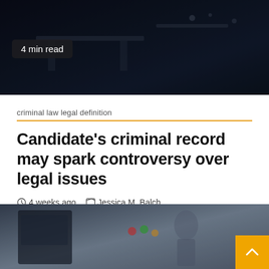[Figure (photo): Dark interior scene, dimly lit room at night, serves as article header image]
4 min read
criminal law legal definition
Candidate’s criminal record may spark controversy over legal issues
4 weeks ago   Jessica M. Balch
Copyright © 2022 Albuquerque Journal SANTA FE – A Republican legislative candidate from Albuquerque could be blocked from having business...
[Figure (photo): Blurred outdoor scene showing a police car door and a person in background with traffic lights]